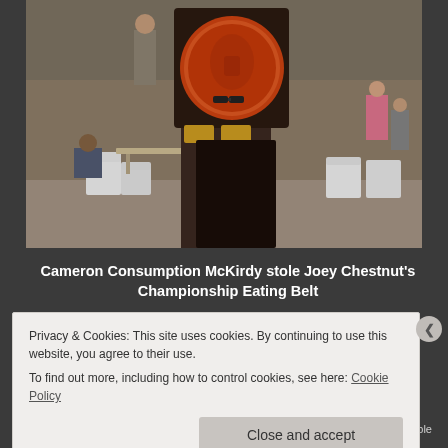[Figure (photo): A person holding up a large championship eating belt with an orange/bronze circular medallion. In the background are white plastic chairs, tables, people, and outdoor event surroundings.]
Cameron Consumption McKirdy stole Joey Chestnut's Championship Eating Belt
Privacy & Cookies: This site uses cookies. By continuing to use this website, you agree to their use.
To find out more, including how to control cookies, see here: Cookie Policy
Close and accept
The Platform Where WordPress Works Best   Pressable